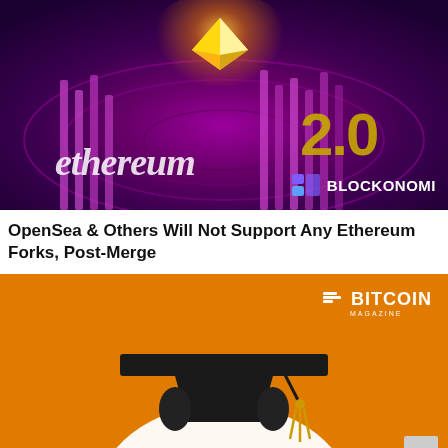[Figure (illustration): Ethereum 2.0 promotional image with purple/magenta background showing 3D rendered 'ethereum 2.0' text and geometric crystal shape, with Blockonomi logo in bottom right corner]
OpenSea & Others Will Not Support Any Ethereum Forks, Post-Merge
[Figure (illustration): Bitcoin Magazine branded image with orange background showing a cartoon graduation cap with yellow tassel and a white figure/character below it]